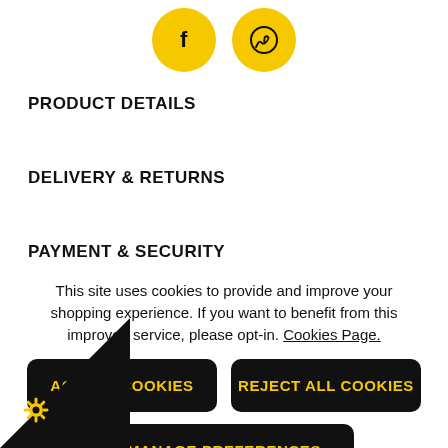[Figure (illustration): Two yellow circular social media icons: Facebook (f) and WhatsApp (phone/chat symbol) at top center]
PRODUCT DETAILS
DELIVERY & RETURNS
PAYMENT & SECURITY
This site uses cookies to provide and improve your shopping experience. If you want to benefit from this improved service, please opt-in. Cookies Page.
ACCEPT COOKIES
REJECT ALL COOKIES
MANAGE PREFERENCES
[Figure (illustration): Black triangle in bottom-left corner with a yellow gear/settings icon]